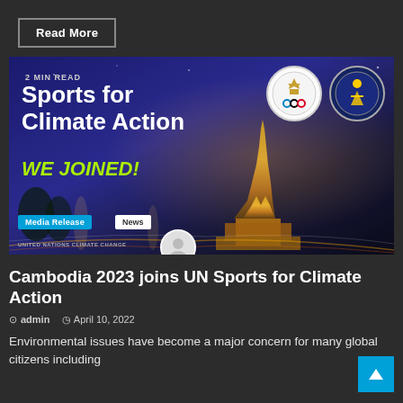Read More
[Figure (photo): Sports for Climate Action promotional image with text '2 MIN READ', 'Sports for Climate Action', 'WE JOINED!' overlaid on a night cityscape with illuminated temple building. Tags: Media Release, News. United Nations Climate Change branding. Olympic-style logo badges in top right.]
Cambodia 2023 joins UN Sports for Climate Action
admin   April 10, 2022
Environmental issues have become a major concern for many global citizens including